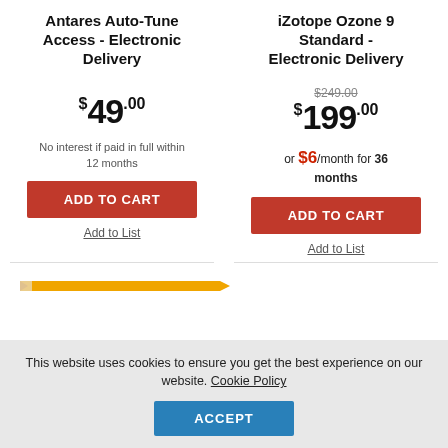Antares Auto-Tune Access - Electronic Delivery
iZotope Ozone 9 Standard - Electronic Delivery
$49.00
No interest if paid in full within 12 months
ADD TO CART
Add to List
$249.00
$199.00
or $6/month for 36 months
ADD TO CART
Add to List
This website uses cookies to ensure you get the best experience on our website. Cookie Policy
ACCEPT